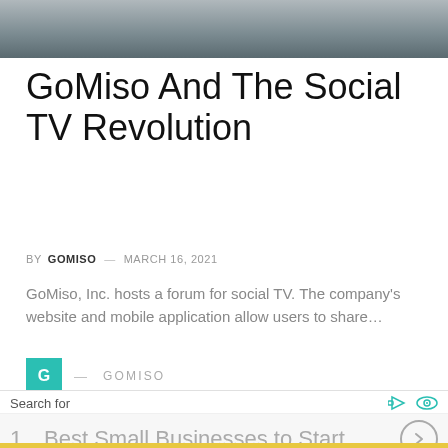[Figure (photo): Partial photo of people sitting on a couch, cut off at top of page]
GoMiso And The Social TV Revolution
BY  GOMISO  —  MARCH 16, 2021
GoMiso, Inc. hosts a forum for social TV. The company's website and mobile application allow users to share...
G  —  GOMISO
[Figure (screenshot): Partial photo visible behind ad overlay]
Search for
1.  Best Small Businesses to Start